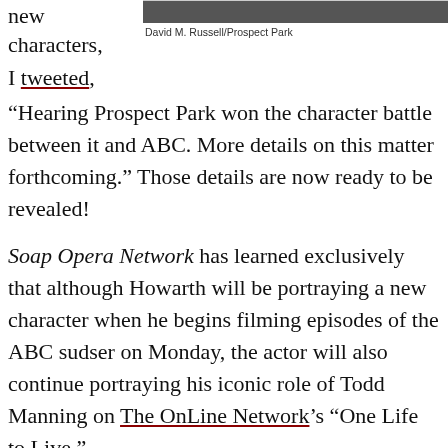new characters,
[Figure (photo): Dark image strip at top right, likely a person photo]
David M. Russell/Prospect Park
I tweeted,
“Hearing Prospect Park won the character battle between it and ABC. More details on this matter forthcoming.” Those details are now ready to be revealed!
Soap Opera Network has learned exclusively that although Howarth will be portraying a new character when he begins filming episodes of the ABC sudser on Monday, the actor will also continue portraying his iconic role of Todd Manning on The OnLine Network’s “One Life to Live.”
[Figure (other): Advertisement loading area with black bar and gray background showing 'Loading ad' text]